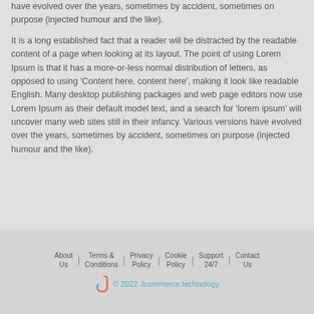have evolved over the years, sometimes by accident, sometimes on purpose (injected humour and the like).
It is a long established fact that a reader will be distracted by the readable content of a page when looking at its layout. The point of using Lorem Ipsum is that it has a more-or-less normal distribution of letters, as opposed to using 'Content here, content here', making it look like readable English. Many desktop publishing packages and web page editors now use Lorem Ipsum as their default model text, and a search for 'lorem ipsum' will uncover many web sites still in their infancy. Various versions have evolved over the years, sometimes by accident, sometimes on purpose (injected humour and the like).
About Us | Terms & Conditions | Privacy Policy | Cookie Policy | Support 24/7 | Contact Us
© 2022 Jcommerce.technology